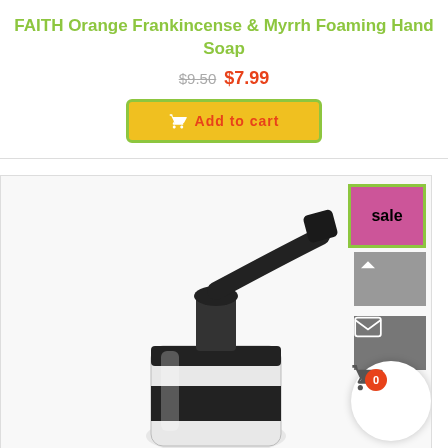FAITH Orange Frankincense & Myrrh Foaming Hand Soap
$9.50  $7.99
Add to cart
[Figure (photo): Foaming hand soap pump bottle with black pump and white body, product image on e-commerce page]
sale
0